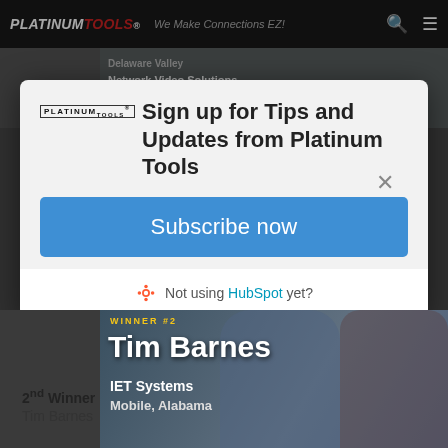Platinum Tools — We Make Connections EZ!
[Figure (screenshot): Website screenshot background showing Platinum Tools header and winner photo behind a modal dialog popup]
Sign up for Tips and Updates from Platinum Tools
Subscribe now
Not using HubSpot yet?
WINNER #2
Tim Barnes
IET Systems
Mobile, Alabama
2nd Winner
Tim Barnes